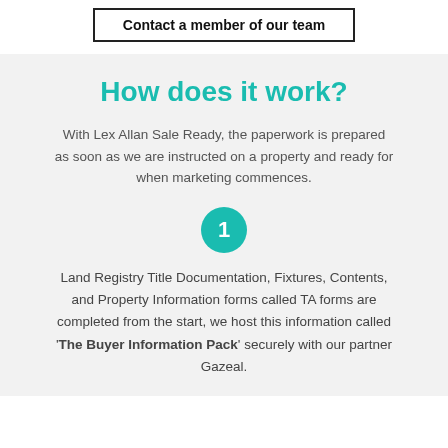Contact a member of our team
How does it work?
With Lex Allan Sale Ready, the paperwork is prepared as soon as we are instructed on a property and ready for when marketing commences.
1
Land Registry Title Documentation, Fixtures, Contents, and Property Information forms called TA forms are completed from the start, we host this information called 'The Buyer Information Pack' securely with our partner Gazeal.